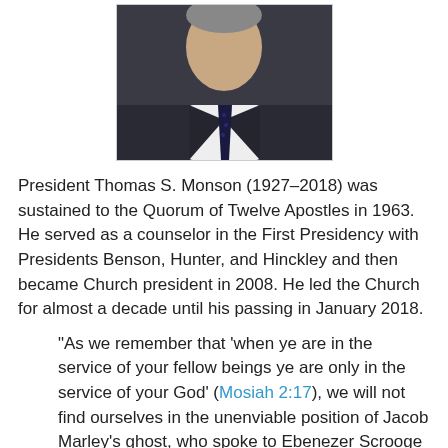[Figure (photo): Portrait photo of President Thomas S. Monson, an elderly man in a dark suit and tie]
President Thomas S. Monson (1927–2018) was sustained to the Quorum of Twelve Apostles in 1963. He served as a counselor in the First Presidency with Presidents Benson, Hunter, and Hinckley and then became Church president in 2008. He led the Church for almost a decade until his passing in January 2018.
"As we remember that 'when ye are in the service of your fellow beings ye are only in the service of your God' (Mosiah 2:17), we will not find ourselves in the unenviable position of Jacob Marley's ghost, who spoke to Ebenezer Scrooge in Dickens' immortal A Christmas Carol. Marley spoke sadly of opportunities lost. Said he: 'Not to know that any Christian spirit working kindly in its little sphere, whatever it may be, will find its mortal life too short for its vast means of usefulness. Not to know that no space of regret